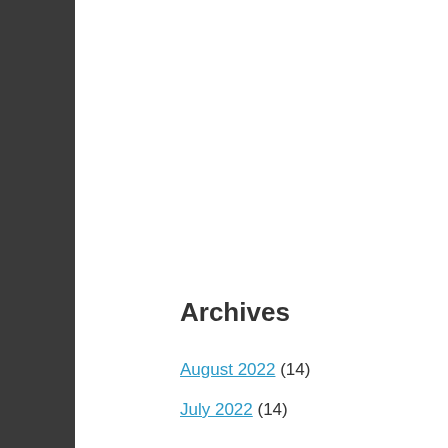Archives
August 2022 (14)
July 2022 (14)